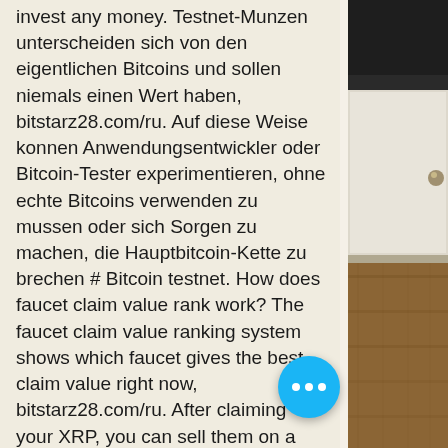invest any money. Testnet-Munzen unterscheiden sich von den eigentlichen Bitcoins und sollen niemals einen Wert haben, bitstarz28.com/ru. Auf diese Weise konnen Anwendungsentwickler oder Bitcoin-Tester experimentieren, ohne echte Bitcoins verwenden zu mussen oder sich Sorgen zu machen, die Hauptbitcoin-Kette zu brechen # Bitcoin testnet. How does faucet claim value rank work? The faucet claim value ranking system shows which faucet gives the best claim value right now, bitstarz28.com/ru. After claiming your XRP, you can sell them on a crypto exchange. Cointiply Bitcoin Faucet ' one of the highest paying bitcoin faucets, bitstarz coupon codes. But some bitcoin faucets have random larger rewards. Frequently they pay you into Micro Wallet accounts, or directly to your Wallet Add битстарз казино бездепозитный бону And most of them are able to detect the ad-
[Figure (photo): Right side of the page shows a photograph of a room interior with dark upper area (possibly appliances or dark wall), white cabinetry with a round knob in the middle section, and wooden flooring at the bottom.]